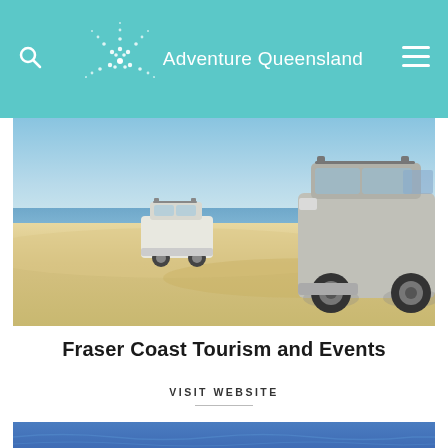Adventure Queensland
[Figure (photo): Two 4WD vehicles (SUVs) driving on a sandy beach with blue ocean and sky in the background. One white vehicle is in the middle distance, one silver vehicle is in the foreground right.]
Fraser Coast Tourism and Events
VISIT WEBSITE
[Figure (photo): Blue water/ocean partial view at the bottom of the page.]